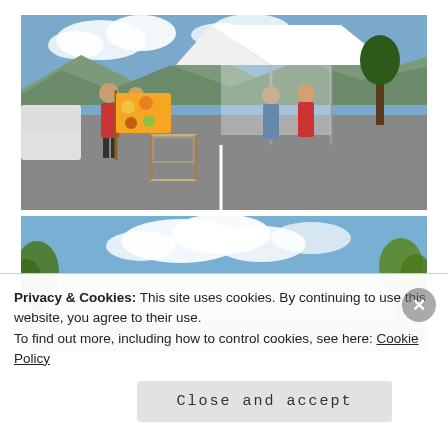[Figure (photo): Outdoor market or community event scene with a white tent/canopy, people standing around, a wicker chair in the foreground, display board on an easel, mountains and trees in the background, sunny day with blue sky and clouds.]
[Figure (photo): Outdoor scene with blue sky, white clouds, and trees visible, appears to be continuation of the same outdoor event location.]
Privacy & Cookies: This site uses cookies. By continuing to use this website, you agree to their use.
To find out more, including how to control cookies, see here: Cookie Policy
Close and accept